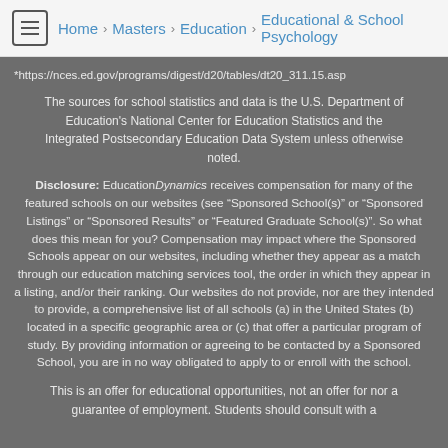Home > Masters > Education > Educational & School Psychology
*https://nces.ed.gov/programs/digest/d20/tables/dt20_311.15.asp
The sources for school statistics and data is the U.S. Department of Education's National Center for Education Statistics and the Integrated Postsecondary Education Data System unless otherwise noted.
Disclosure: EducationDynamics receives compensation for many of the featured schools on our websites (see “Sponsored School(s)” or “Sponsored Listings” or “Sponsored Results” or “Featured Graduate School(s)”. So what does this mean for you? Compensation may impact where the Sponsored Schools appear on our websites, including whether they appear as a match through our education matching services tool, the order in which they appear in a listing, and/or their ranking. Our websites do not provide, nor are they intended to provide, a comprehensive list of all schools (a) in the United States (b) located in a specific geographic area or (c) that offer a particular program of study. By providing information or agreeing to be contacted by a Sponsored School, you are in no way obligated to apply to or enroll with the school.
This is an offer for educational opportunities, not an offer for nor a guarantee of employment. Students should consult with a